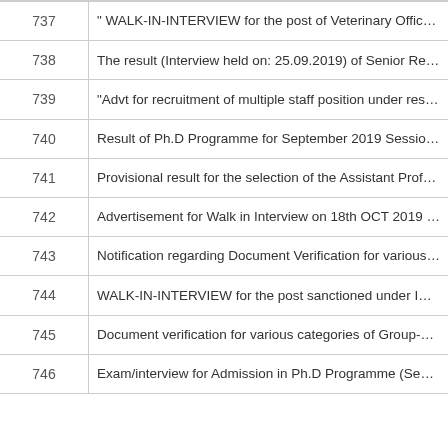| # | Description |
| --- | --- |
| 737 | " WALK-IN-INTERVIEW for the post of Veterinary Officer (On a p |
| 738 | The result (Interview held on: 25.09.2019) of Senior Resident & T |
| 739 | "Advt for recruitment of multiple staff position under research pro |
| 740 | Result of Ph.D Programme for September 2019 Session(Intervie |
| 741 | Provisional result for the selection of the Assistant Professor & S |
| 742 | Advertisement for Walk in Interview on 18th OCT 2019 for the po |
| 743 | Notification regarding Document Verification for various categorie |
| 744 | WALK-IN-INTERVIEW for the post sanctioned under ICMR-NCD |
| 745 | Document verification for various categories of Group-B posts - R |
| 746 | Exam/interview for Admission in Ph.D Programme (September 2 |